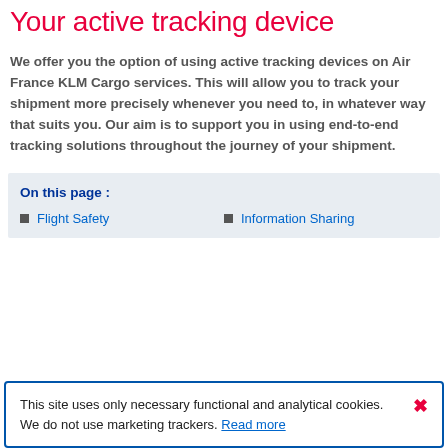Your active tracking device
We offer you the option of using active tracking devices on Air France KLM Cargo services. This will allow you to track your shipment more precisely whenever you need to, in whatever way that suits you. Our aim is to support you in using end-to-end tracking solutions throughout the journey of your shipment.
On this page :
Flight Safety
Information Sharing
This site uses only necessary functional and analytical cookies. We do not use marketing trackers. Read more